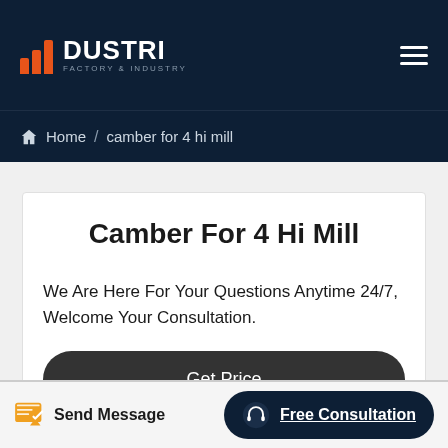[Figure (logo): DUSTRI Factory & Industry logo with orange bar chart icon on dark navy background]
Home / camber for 4 hi mill
Camber For 4 Hi Mill
We Are Here For Your Questions Anytime 24/7, Welcome Your Consultation.
Get Price
Send Message   Free Consultation